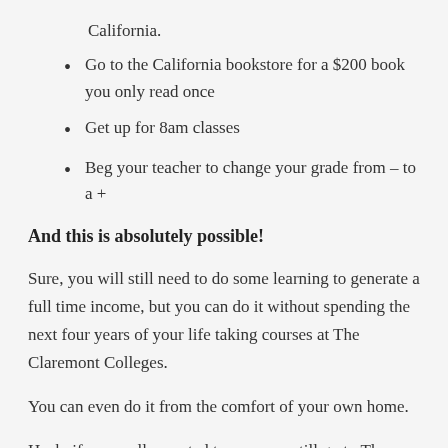California.
Go to the California bookstore for a $200 book you only read once
Get up for 8am classes
Beg your teacher to change your grade from – to a +
And this is absolutely possible!
Sure, you will still need to do some learning to generate a full time income, but you can do it without spending the next four years of your life taking courses at The Claremont Colleges.
You can even do it from the comfort of your own home.
Heck, if you really wanted to, you can still go to The Claremont